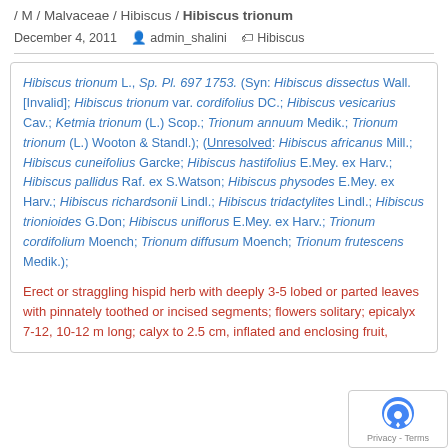... / Species 1000 plants (families) / M – Z (families) / M / Malvaceae / Hibiscus / Hibiscus trionum
December 4, 2011   admin_shalini   Hibiscus
Hibiscus trionum L., Sp. Pl. 697 1753. (Syn: Hibiscus dissectus Wall. [Invalid]; Hibiscus trionum var. cordifolius DC.; Hibiscus vesicarius Cav.; Ketmia trionum (L.) Scop.; Trionum annuum Medik.; Trionum trionum (L.) Wooton & Standl.); (Unresolved: Hibiscus africanus Mill.; Hibiscus cuneifolius Garcke; Hibiscus hastifolius E.Mey. ex Harv.; Hibiscus pallidus Raf. ex S.Watson; Hibiscus physodes E.Mey. ex Harv.; Hibiscus richardsonii Lindl.; Hibiscus tridactylites Lindl.; Hibiscus trionioides G.Don; Hibiscus uniflorus E.Mey. ex Harv.; Trionum cordifolium Moench; Trionum diffusum Moench; Trionum frutescens Medik.);
Erect or straggling hispid herb with deeply 3-5 lobed or parted leaves with pinnately toothed or incised segments; flowers solitary; epicalyx 7-12, 10-12 m long; calyx to 2.5 cm, inflated and enclosing fruit,